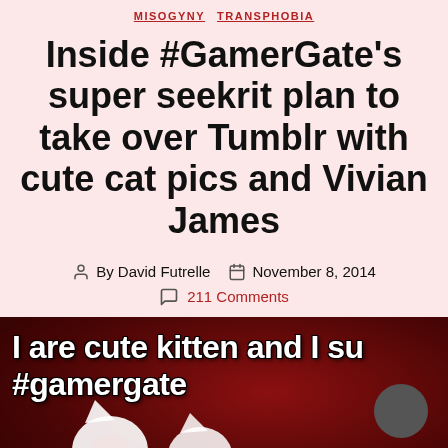MISOGYNY  TRANSPHOBIA
Inside #GamerGate's super seekrit plan to take over Tumblr with cute cat pics and Vivian James
By David Futrelle  November 8, 2014
211 Comments
[Figure (photo): Meme image showing a white cat on a dark red background with bold white text reading 'I are cute kitten and I su #gamergate' and a moon emoji icon]